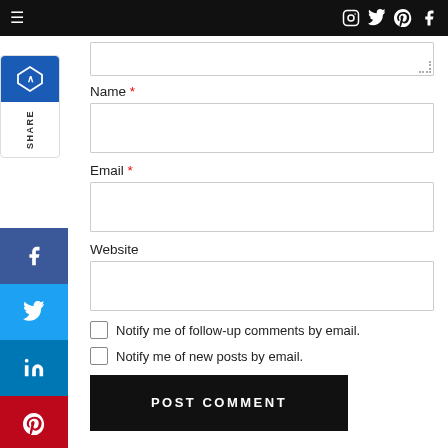≡  [instagram] [twitter] [pinterest] [facebook]
[Figure (other): Share widget with logo and SHARE text label on left side]
[Figure (other): Social media share buttons column: Facebook (f), Twitter bird, LinkedIn (in), Pinterest (p), Reddit alien, Mix (m)]
Name *
Email *
Website
Notify me of follow-up comments by email.
Notify me of new posts by email.
POST COMMENT